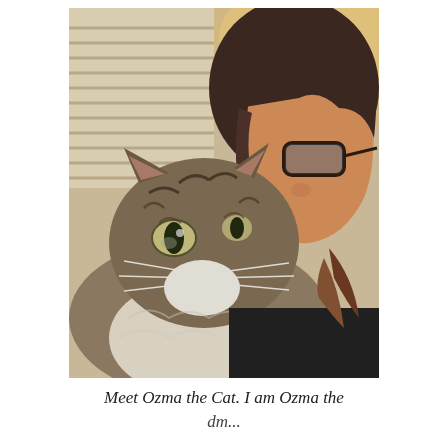[Figure (photo): A close-up selfie photo of a woman with short dark brown hair and dark-framed glasses, cheek-to-cheek with a large fluffy tabby cat (Maine Coon type) with green/yellow eyes, white whiskers, and gray-brown striped fur. Background shows window blinds and a warm interior light.]
Meet Ozma the Cat. I am Ozma the